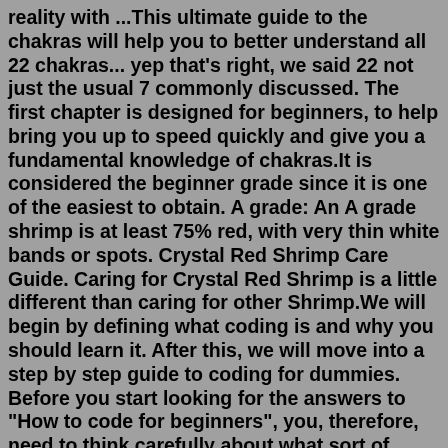reality with ...This ultimate guide to the chakras will help you to better understand all 22 chakras... yep that's right, we said 22 not just the usual 7 commonly discussed. The first chapter is designed for beginners, to help bring you up to speed quickly and give you a fundamental knowledge of chakras.It is considered the beginner grade since it is one of the easiest to obtain. A grade: An A grade shrimp is at least 75% red, with very thin white bands or spots. Crystal Red Shrimp Care Guide. Caring for Crystal Red Shrimp is a little different than caring for other Shrimp.We will begin by defining what coding is and why you should learn it. After this, we will move into a step by step guide to coding for dummies. Before you start looking for the answers to "How to code for beginners", you, therefore, need to think carefully about what sort of coding you would like to do.Welcome to Crystal Earth Spirit. Check out Crystals by Meaning collections. Grounding, Happiness & Joy, Love & Relationships and many ... A ... STRENGTH & COURAGE. A ...